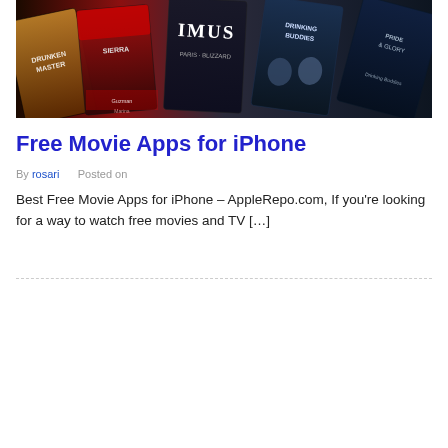[Figure (photo): A collection of movie app screens on phones showing movie posters including titles like 'Drinking Buddies', 'Imus', and others on a Netflix-like streaming interface with red and dark backgrounds.]
Free Movie Apps for iPhone
By rosari       Posted on
Best Free Movie Apps for iPhone – AppleRepo.com, If you're looking for a way to watch free movies and TV […]